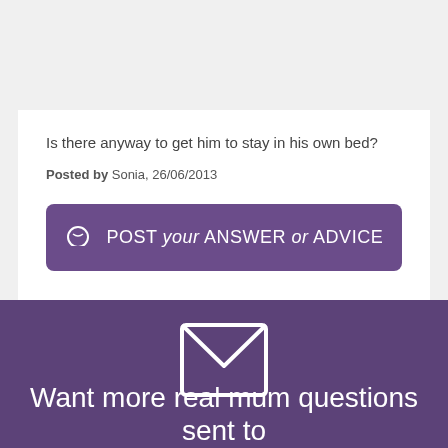Is there anyway to get him to stay in his own bed?
Posted by  Sonia, 26/06/2013
POST your ANSWER or ADVICE
[Figure (illustration): White envelope icon on purple background]
Want more real mum questions sent to